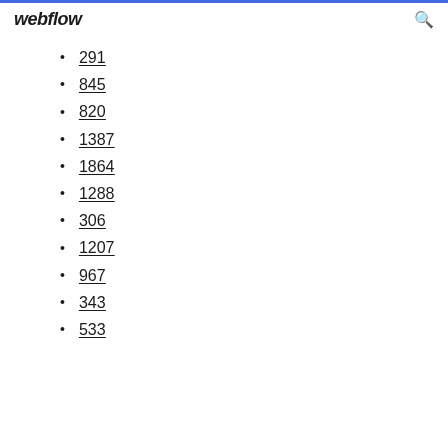webflow
291
845
820
1387
1864
1288
306
1207
967
343
533